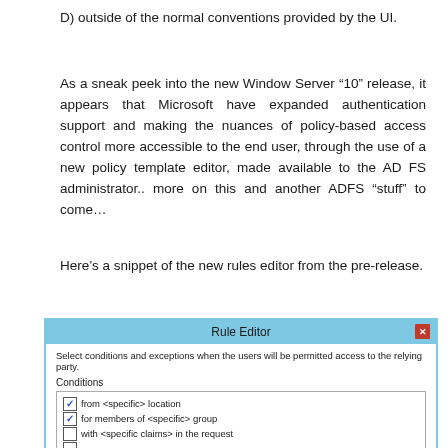D) outside of the normal conventions provided by the UI.
As a sneak peek into the new Window Server “10” release, it appears that Microsoft have expanded authentication support and making the nuances of policy-based access control more accessible to the end user, through the use of a new policy template editor, made available to the AD FS administrator.. more on this and another ADFS “stuff” to come…
Here’s a snippet of the new rules editor from the pre-release.
[Figure (screenshot): Screenshot of a Rule Editor dialog box with a light blue title bar and red close button. It shows instructions to select conditions and exceptions. Below is a 'Conditions' section listing: checked 'from <specific> location', checked 'for members of <specific> group', unchecked 'with <specific claims> in the request', and a partially visible fourth item.]